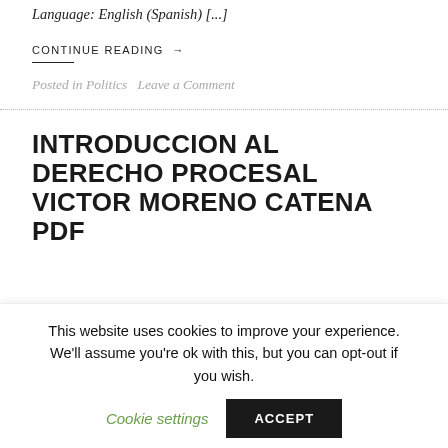Language: English (Spanish) [...]
CONTINUE READING →
Posted in Politics   Leave a Comment
INTRODUCCION AL DERECHO PROCESAL VICTOR MORENO CATENA PDF
This website uses cookies to improve your experience. We'll assume you're ok with this, but you can opt-out if you wish.  Cookie settings  ACCEPT